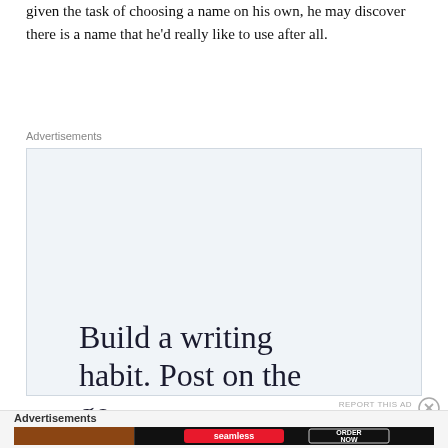given the task of choosing a name on his own, he may discover there is a name that he'd really like to use after all.
Advertisements
[Figure (other): WordPress app advertisement: 'Build a writing habit. Post on the go.' with GET THE APP call-to-action and WordPress logo]
Advertisements
[Figure (other): Seamless food delivery advertisement with pizza image, Seamless logo, and ORDER NOW button]